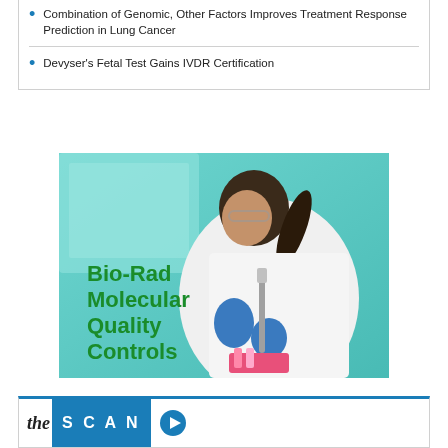Combination of Genomic, Other Factors Improves Treatment Response Prediction in Lung Cancer
Devyser's Fetal Test Gains IVDR Certification
[Figure (photo): Advertisement image for Bio-Rad Molecular Quality Controls showing a female scientist in a white lab coat and blue gloves using a pipette in a laboratory setting with teal/green background. Text overlay reads 'Bio-Rad Molecular Quality Controls' in bold green letters.]
the SCAN ▶